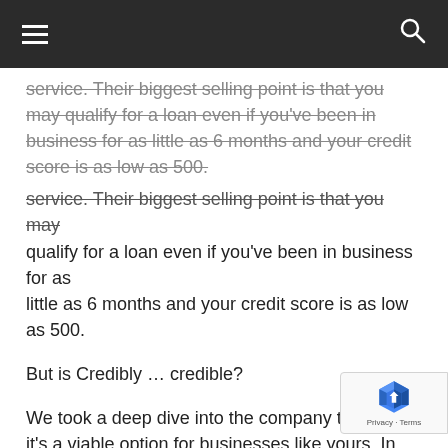[hamburger menu] [search icon]
service. Their biggest selling point is that you may qualify for a loan even if you've been in business for as little as 6 months and your credit score is as low as 500.
But is Credibly … credible?
We took a deep dive into the company to see if it's a viable option for businesses like yours. In this post, we'll summarize the credit products available from Credibly and share our other findings so you can decide if a loan from Credibly is a smart move for your business.
Here's what we're going to cover:
Table of Contents